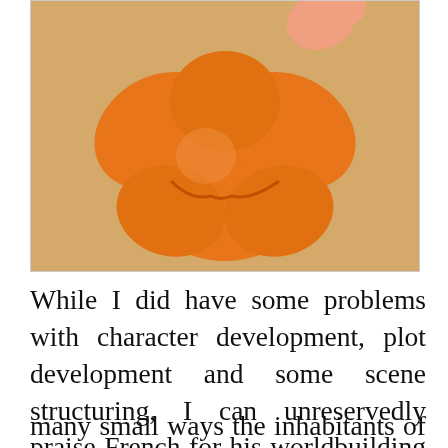[Figure (illustration): Cartoon orange bird or creature illustration on a tan/beige background, partially cropped at top]
While I did have some problems with character development, plot development and some scene structuring, I can unreservedly praise French for his worldbuilding skills. The
Privacy & Cookies: This site uses cookies. By continuing to use this website, you agree to their use.
To find out more, including how to control cookies, see here: Cookie Policy
[Close and accept]
many small ways the inhabitants of the Lots